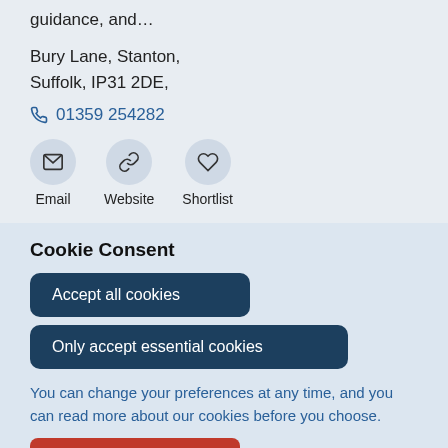guidance, and…
Bury Lane, Stanton, Suffolk, IP31 2DE,
📞 01359 254282
[Figure (infographic): Three circular icon buttons: Email (envelope icon), Website (link chain icon), Shortlist (heart icon)]
Cookie Consent
Accept all cookies
Only accept essential cookies
You can change your preferences at any time, and you can read more about our cookies before you choose.
Leave Website